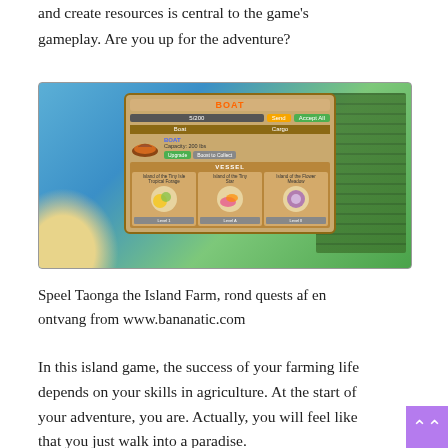and create resources is central to the game’s gameplay. Are you up for the adventure?
[Figure (screenshot): Screenshot of the Taonga Island Farm game showing the BOAT dialog UI with vessel upgrade options, island scenery with water, sandy beach, and farm fields in the background.]
Speel Taonga the Island Farm, rond quests af en ontvang from www.bananatic.com
In this island game, the success of your farming life depends on your skills in agriculture. At the start of your adventure, you are. Actually, you will feel like that you just walk into a paradise.